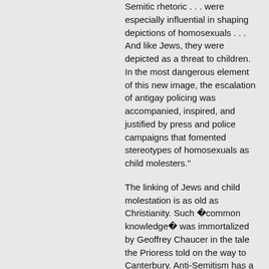Semitic rhetoric . . . were especially influential in shaping depictions of homosexuals . . . And like Jews, they were depicted as a threat to children. In the most dangerous element of this new image, the escalation of antigay policing was accompanied, inspired, and justified by press and police campaigns that fomented stereotypes of homosexuals as child molesters."
The linking of Jews and child molestation is as old as Christianity. Such �common knowledge� was immortalized by Geoffrey Chaucer in the tale the Prioress told on the way to Canterbury. Anti-Semitism has a long history in America as well. It seems less than coincidental that the two Americans executed for treason during the McCarthy era -- when the U.S. State Department fired more homosexuals than Communists -- were Jewish. Homosexuals were a �natural� addition to Jews and Communists especially since they were defined primarily by their sexuality, an uncomfortable topic rarely openly discussed in post-WWII Christian America.
Truth is, there are mentally ill heterosexuals who are child molesters